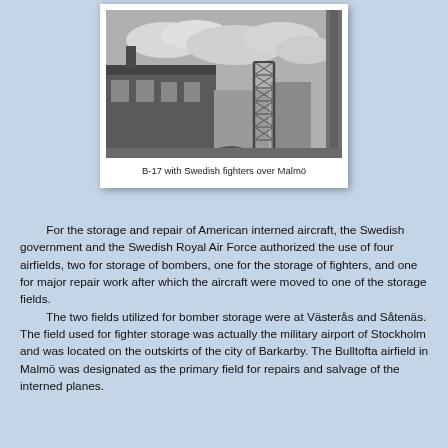[Figure (photo): Black and white photograph showing buildings and a metal construction tower/scaffold structure, with cloudy sky in background. Appears to be a city scene.]
B-17 with Swedish fighters over Malmö
For the storage and repair of American interned aircraft, the Swedish government and the Swedish Royal Air Force authorized the use of four airfields, two for storage of bombers, one for the storage of fighters, and one for major repair work after which the aircraft were moved to one of the storage fields.
	The two fields utilized for bomber storage were at Västerås and Såtenäs. The field used for fighter storage was actually the military airport of Stockholm and was located on the outskirts of the city of Barkarby. The Bulltofta airfield in Malmö was designated as the primary field for repairs and salvage of the interned planes.